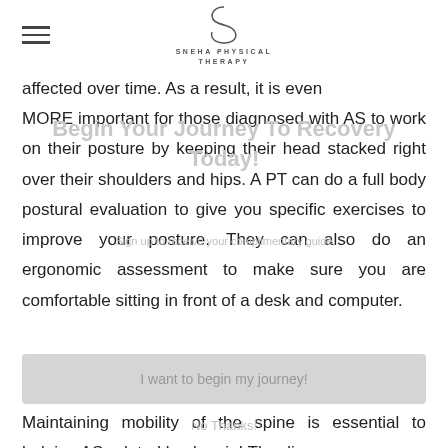SNEHA PHYSICAL THERAPY
Begin Your Journey To Recovery Today!
Sign up to receive your complimentary guide
affected over time. As a result, it is even MORE important for those diagnosed with AS to work on their posture by keeping their head stacked right over their shoulders and hips. A PT can do a full body postural evaluation to give you specific exercises to improve your posture. They can also do an ergonomic assessment to make sure you are comfortable sitting in front of a desk and computer.
I want to begin my journey!
No Thanks!
3. Exercise
Maintaining mobility of the spine is essential to helping AS-related back pain! The disease